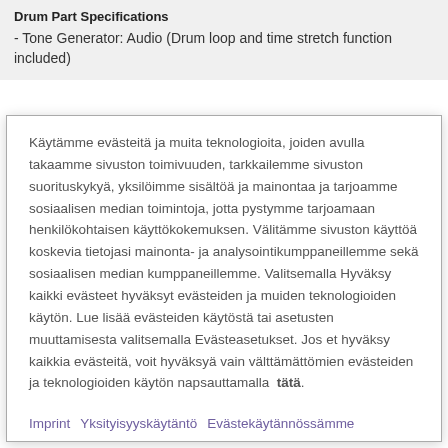Drum Part Specifications
- Tone Generator: Audio (Drum loop and time stretch function included)
Käytämme evästeitä ja muita teknologioita, joiden avulla takaamme sivuston toimivuuden, tarkkailemme sivuston suorituskykyä, yksilöimme sisältöä ja mainontaa ja tarjoamme sosiaalisen median toimintoja, jotta pystymme tarjoamaan henkilökohtaisen käyttökokemuksen. Välitämme sivuston käyttöä koskevia tietojasi mainonta- ja analysointikumppaneillemme sekä sosiaalisen median kumppaneillemme. Valitsemalla Hyväksy kaikki evästeet hyväksyt evästeiden ja muiden teknologioiden käytön. Lue lisää evästeiden käytöstä tai asetusten muuttamisesta valitsemalla Evästeasetukset. Jos et hyväksy kaikkia evästeitä, voit hyväksyä vain välttämättömien evästeiden ja teknologioiden käytön napsauttamalla  tätä.
Imprint
Yksityisyyskäytäntö
Evästekäytännössämme
Evästeasetukset
Hyväksy kaikki evästeet